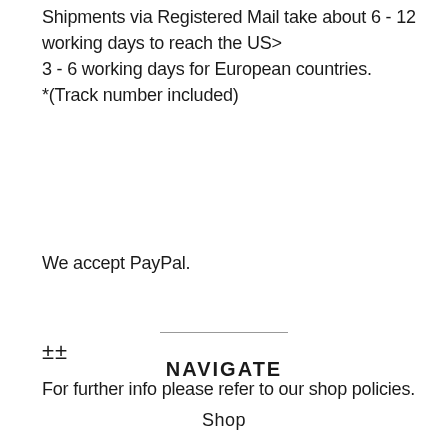Shipments via Registered Mail take about 6 - 12 working days to reach the US>
3 - 6 working days for European countries.
*(Track number included)
We accept PayPal.
±±
For further info please refer to our shop policies.
NAVIGATE
Shop